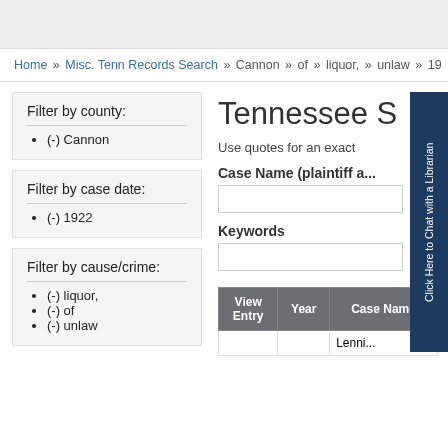Home » Misc. Tenn Records Search » Cannon » of » liquor, » unlaw » 19...
Filter by county:
(-) Cannon
Filter by case date:
(-) 1922
Filter by cause/crime:
(-) liquor,
(-) of
(-) unlaw
Tennessee S
Use quotes for an exact
Case Name (plaintiff a...
Keywords
| View Entry | Year | Case Name |
| --- | --- | --- |
|  |  | Lenni... |